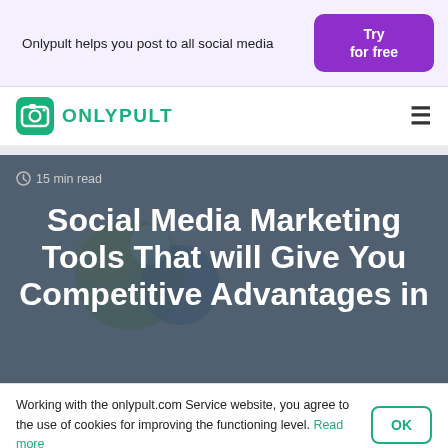Onlypult helps you post to all social media
[Figure (logo): Onlypult logo — teal square icon with camera symbol and text ONLYPULT in teal]
15 min read
Social Media Marketing Tools That will Give You Competitive Advantages in
Working with the onlypult.com Service website, you agree to the use of cookies for improving the functioning level. Read more